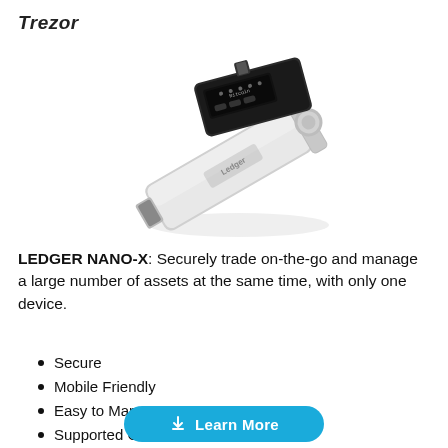Trezor
[Figure (photo): Two hardware cryptocurrency wallets — a black Trezor device and a silver Ledger Nano X — overlapping at an angle on a white background.]
LEDGER NANO-X: Securely trade on-the-go and manage a large number of assets at the same time, with only one device.
Secure
Mobile Friendly
Easy to Manage
Supported Coins: 1200+
Learn More